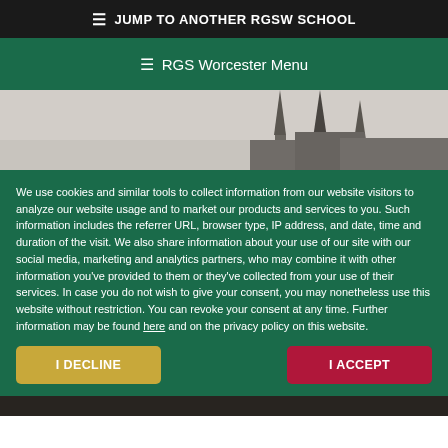≡ JUMP TO ANOTHER RGSW SCHOOL
≡ RGS Worcester Menu
[Figure (photo): Black and white historical photograph showing church spires/steeples of RGS Worcester school buildings against a light sky]
We use cookies and similar tools to collect information from our website visitors to analyze our website usage and to market our products and services to you. Such information includes the referrer URL, browser type, IP address, and date, time and duration of the visit. We also share information about your use of our site with our social media, marketing and analytics partners, who may combine it with other information you've provided to them or they've collected from your use of their services. In case you do not wish to give your consent, you may nonetheless use this website without restriction. You can revoke your consent at any time. Further information may be found here and on the privacy policy on this website.
I DECLINE
I ACCEPT